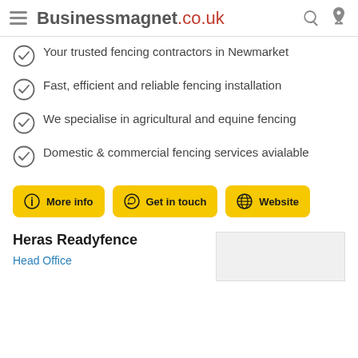Businessmagnet.co.uk
Your trusted fencing contractors in Newmarket
Fast, efficient and reliable fencing installation
We specialise in agricultural and equine fencing
Domestic & commercial fencing services avialable
More info | Get in touch | Website
Heras Readyfence
Head Office